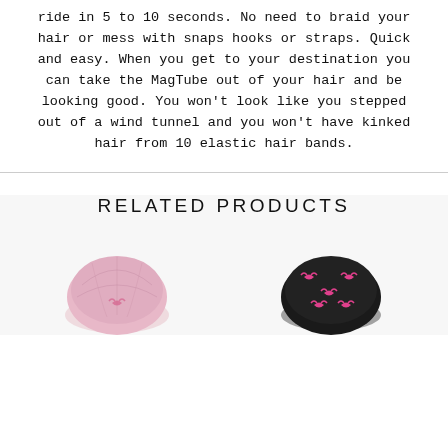ride in 5 to 10 seconds. No need to braid your hair or mess with snaps hooks or straps. Quick and easy. When you get to your destination you can take the MagTube out of your hair and be looking good. You won't look like you stepped out of a wind tunnel and you won't have kinked hair from 10 elastic hair bands.
RELATED PRODUCTS
[Figure (photo): Pink textured helmet or head covering product shown from above, light pink color]
[Figure (photo): Black helmet or head covering with pink ribbon pattern, shown from above]